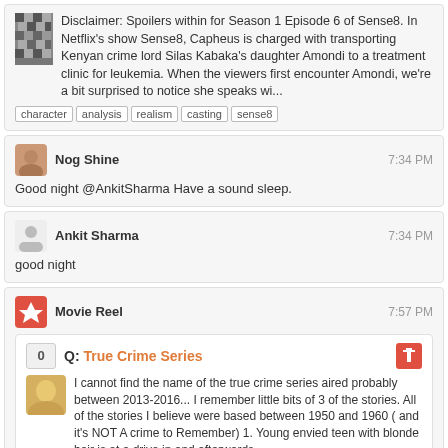Disclaimer: Spoilers within for Season 1 Episode 6 of Sense8. In Netflix's show Sense8, Capheus is charged with transporting Kenyan crime lord Silas Kabaka's daughter Amondi to a treatment clinic for leukemia. When the viewers first encounter Amondi, we're a bit surprised to notice she speaks wi...
character | analysis | realism | casting | sense8
Nog Shine 7:34 PM
Good night @AnkitSharma Have a sound sleep.
Ankit Sharma 7:34 PM
good night
Movie Reel 7:57 PM
Q: True Crime Series
I cannot find the name of the true crime series aired probably between 2013-2016... I remember little bits of 3 of the stories. All of the stories I believe were based between 1950 and 1960 ( and it's NOT A crime to Remember) 1. Young envied teen with blonde hair is at a drive in and afterwards ...
identify-this-tv-show
Tinkeringbell 8:04 PM
@NogShine We're doing our best to bash em. Your comments/edit certainly help, thanks for that! :D
Movie Reel 8:31 PM